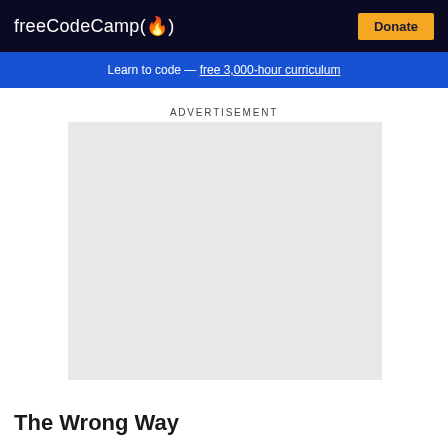freeCodeCamp(🔥)   Donate
Learn to code — free 3,000-hour curriculum
ADVERTISEMENT
[Figure (other): Advertisement placeholder — light grey rectangle]
The Wrong Way